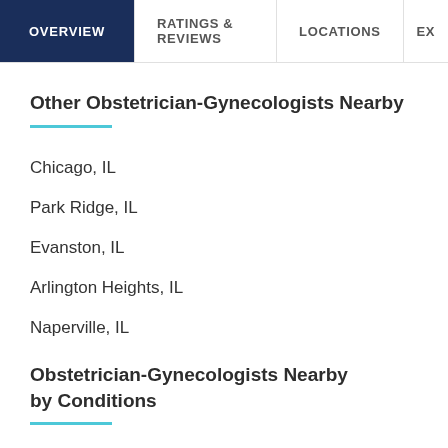OVERVIEW | RATINGS & REVIEWS | LOCATIONS | EX
Other Obstetrician-Gynecologists Nearby
Chicago, IL
Park Ridge, IL
Evanston, IL
Arlington Heights, IL
Naperville, IL
Obstetrician-Gynecologists Nearby by Conditions